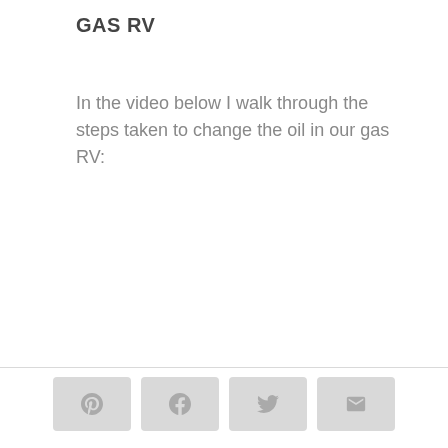GAS RV
In the video below I walk through the steps taken to change the oil in our gas RV:
[Figure (other): Social share buttons: Pinterest, Facebook, Twitter, Email]